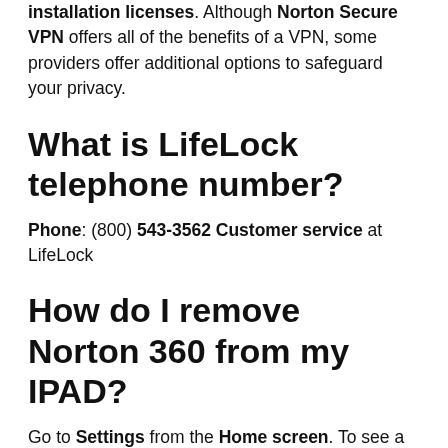installation licenses. Although Norton Secure VPN offers all of the benefits of a VPN, some providers offer additional options to safeguard your privacy.
What is LifeLock telephone number?
Phone: (800) 543-3562 Customer service at LifeLock
How do I remove Norton 360 from my IPAD?
Go to Settings from the Home screen. To see a list of installed applications, go to A...